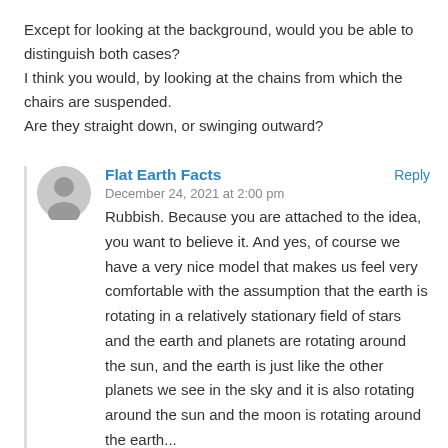Except for looking at the background, would you be able to distinguish both cases?
I think you would, by looking at the chains from which the chairs are suspended.
Are they straight down, or swinging outward?
Flat Earth Facts
December 24, 2021 at 2:00 pm
Reply
Rubbish. Because you are attached to the idea, you want to believe it. And yes, of course we have a very nice model that makes us feel very comfortable with the assumption that the earth is rotating in a relatively stationary field of stars and the earth and planets are rotating around the sun, and the earth is just like the other planets we see in the sky and it is also rotating around the sun and the moon is rotating around the earth...